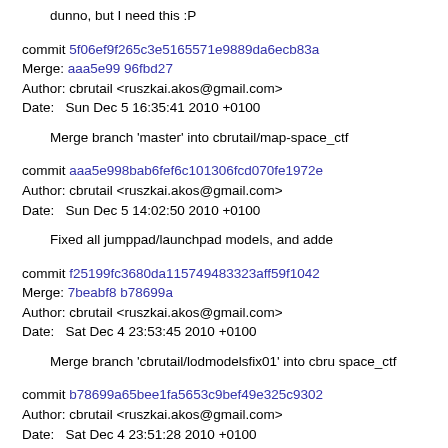dunno, but I need this :P
commit 5f06ef9f265c3e5165571e9889da6ecb83a
Merge: aaa5e99 96fbd27
Author: cbrutail <ruszkai.akos@gmail.com>
Date:   Sun Dec 5 16:35:41 2010 +0100
Merge branch 'master' into cbrutail/map-space_ctf
commit aaa5e998bab6fef6c101306fcd070fe1972e
Author: cbrutail <ruszkai.akos@gmail.com>
Date:   Sun Dec 5 14:02:50 2010 +0100
Fixed all jumppad/launchpad models, and adde
commit f25199fc3680da115749483323aff59f1042
Merge: 7beabf8 b78699a
Author: cbrutail <ruszkai.akos@gmail.com>
Date:   Sat Dec 4 23:53:45 2010 +0100
Merge branch 'cbrutail/lodmodelsfix01' into cbru space_ctf
commit b78699a65bee1fa5653c9bef49e325c9302
Author: cbrutail <ruszkai.akos@gmail.com>
Date:   Sat Dec 4 23:51:28 2010 +0100
Fixed red/blue glowmap a bit, and added texture